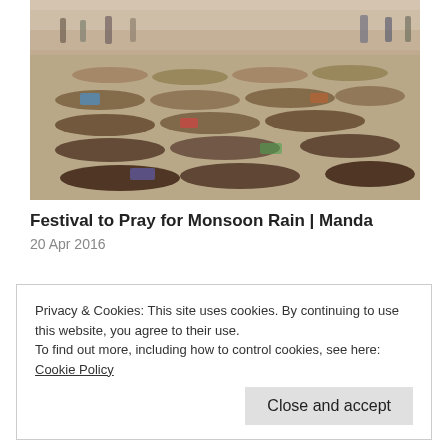[Figure (photo): Outdoor crowd scene showing many people lying on the ground in rows, with spectators in the background, likely a festival or religious gathering.]
Festival to Pray for Monsoon Rain | Manda
20 Apr 2016
Privacy & Cookies: This site uses cookies. By continuing to use this website, you agree to their use.
To find out more, including how to control cookies, see here: Cookie Policy
Close and accept